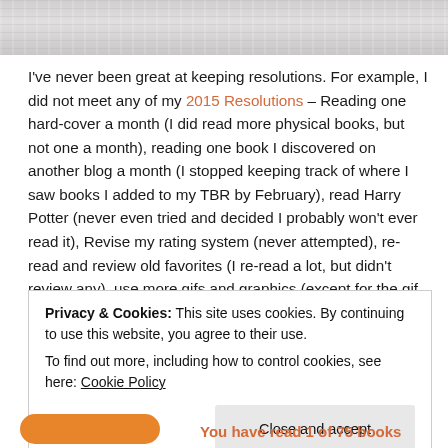[Figure (photo): Partial image at top of page, showing a light gray textured surface (stone or concrete)]
I've never been great at keeping resolutions. For example, I did not meet any of my 2015 Resolutions – Reading one hard-cover a month (I did read more physical books, but not one a month), reading one book I discovered on another blog a month (I stopped keeping track of where I saw books I added to my TBR by February), read Harry Potter (never even tried and decided I probably won't ever read it), Revise my rating system (never attempted), re-read and review old favorites (I re-read a lot, but didn't review any), use more gifs and graphics (except for the gif tags, I only used a couple). BUT, 2016 is a brand new year with lots of possibilities and disappointments
Privacy & Cookies: This site uses cookies. By continuing to use this website, you agree to their use.
To find out more, including how to control cookies, see here: Cookie Policy
Close and accept
You have read 1 of 75 books